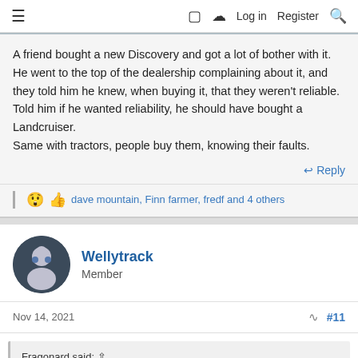≡  □  ⚡  Log in  Register  🔍
A friend bought a new Discovery and got a lot of bother with it. He went to the top of the dealership complaining about it, and they told him he knew, when buying it, that they weren't reliable. Told him if he wanted reliability, he should have bought a Landcruiser.
Same with tractors, people buy them, knowing their faults.
↩ Reply
😲 👍 dave mountain, Finn farmer, fredf and 4 others
Wellytrack
Member
Nov 14, 2021  #11
Fragonard said: ↑